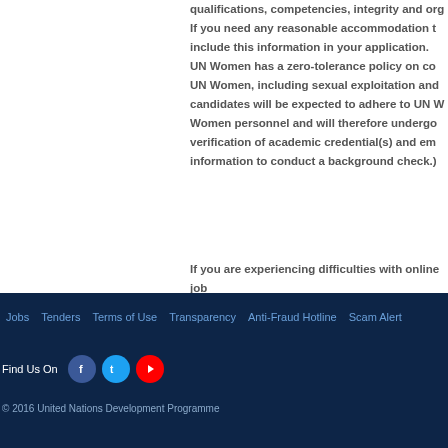qualifications, competencies, integrity and organizational fit. If you need any reasonable accommodation to support your participation in the recruitment and selection process, please include this information in your application. UN Women has a zero-tolerance policy on conduct that is incompatible with the aims and objectives of the United Nations and UN Women, including sexual exploitation and abuse, sexual harassment, abuse of authority and discrimination. All selected candidates will be expected to adhere to UN Women's policies and procedures and the standards of conduct expected of UN Women personnel and will therefore undergo rigorous reference and background checks. Background checks will include the verification of academic credential(s) and employment history. Selected candidates may be required to provide additional information to conduct a background check.)
If you are experiencing difficulties with online job applications, please contact the eRecruit Helpdesk.
Jobs  Tenders  Terms of Use  Transparency  Anti-Fraud Hotline  Scam Alert
Find Us On
© 2016 United Nations Development Programme